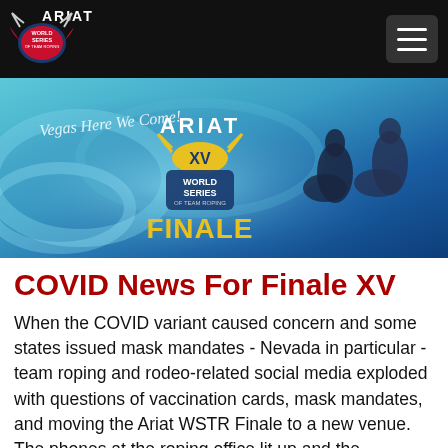ARIAT World Series of Team Roping
[Figure (illustration): Banner image for Ariat World Series of Team Roping Finale XV, featuring blue swirling background, the Ariat XV World Series of Team Roping Finale logo in the center, two rodeo riders on horses on the right, and cursive text 'Vegas Here We Come!' on the left.]
COVID News For Finale XV
When the COVID variant caused concern and some states issued mask mandates - Nevada in particular - team roping and rodeo-related social media exploded with questions of vaccination cards, mask mandates, and moving the Ariat WSTR Finale to a new venue. The phones at the roping office lit up and the customer service team had a lot of chances to meet many of you on the phone and have some great conversations. Questions were asked, laughs